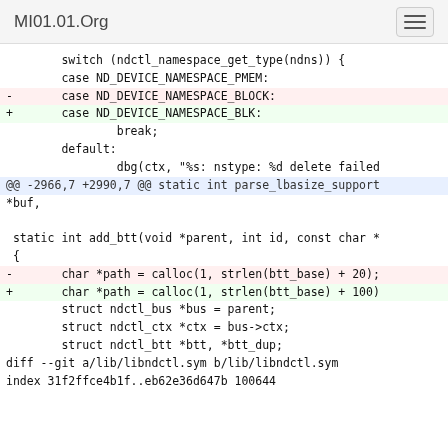MI01.01.Org
switch (ndctl_namespace_get_type(ndns)) {
        case ND_DEVICE_NAMESPACE_PMEM:
-       case ND_DEVICE_NAMESPACE_BLOCK:
+       case ND_DEVICE_NAMESPACE_BLK:
                break;
        default:
                dbg(ctx, "%s: nstype: %d delete failed
@@ -2966,7 +2990,7 @@ static int parse_lbasize_support
*buf,

 static int add_btt(void *parent, int id, const char *
 {
-       char *path = calloc(1, strlen(btt_base) + 20);
+       char *path = calloc(1, strlen(btt_base) + 100)
        struct ndctl_bus *bus = parent;
        struct ndctl_ctx *ctx = bus->ctx;
        struct ndctl_btt *btt, *btt_dup;
diff --git a/lib/libndctl.sym b/lib/libndctl.sym
index 31f2ffce4b1f..eb62e36d647b 100644